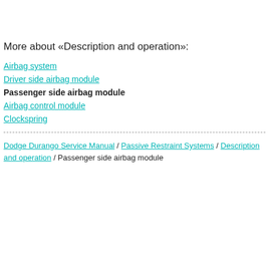More about «Description and operation»:
Airbag system
Driver side airbag module
Passenger side airbag module
Airbag control module
Clockspring
Dodge Durango Service Manual / Passive Restraint Systems / Description and operation / Passenger side airbag module